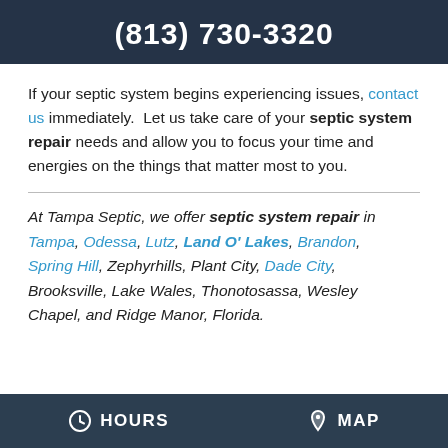(813) 730-3320
If your septic system begins experiencing issues, contact us immediately.  Let us take care of your septic system repair needs and allow you to focus your time and energies on the things that matter most to you.
At Tampa Septic, we offer septic system repair in Tampa, Odessa, Lutz, Land O' Lakes, Brandon, Spring Hill, Zephyrhills, Plant City, Dade City, Brooksville, Lake Wales, Thonotosassa, Wesley Chapel, and Ridge Manor, Florida.
HOURS   MAP